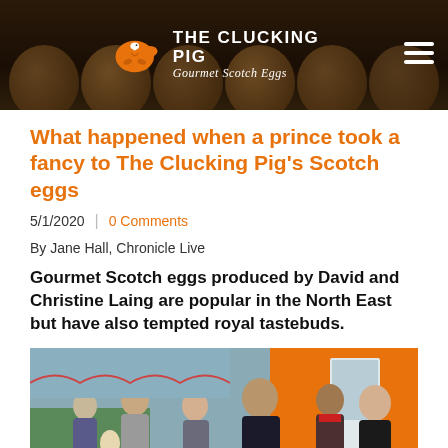THE CLUCKING PIG — Gourmet Scotch Eggs
What happened when a prince took a fancy to The Clucking Pig's Scotch eggs
5/1/2020 | 0 Comments
By Jane Hall, Chronicle Live
Gourmet Scotch eggs produced by David and Christine Laing are popular in the North East but have also tempted royal tastebuds.
[Figure (photo): Photo of people at an indoor event; a man in dark suit appears to be conversing with a woman near an orange wall; other people visible in background]